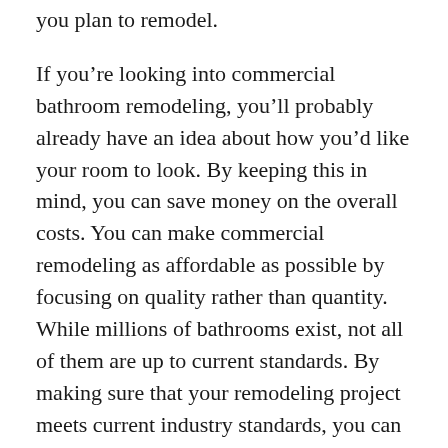you plan to remodel.
If you're looking into commercial bathroom remodeling, you'll probably already have an idea about how you'd like your room to look. By keeping this in mind, you can save money on the overall costs. You can make commercial remodeling as affordable as possible by focusing on quality rather than quantity. While millions of bathrooms exist, not all of them are up to current standards. By making sure that your remodeling project meets current industry standards, you can help keep your costs down and provide a professional finish.
There are a few different factors that you need to take into consideration when it comes to